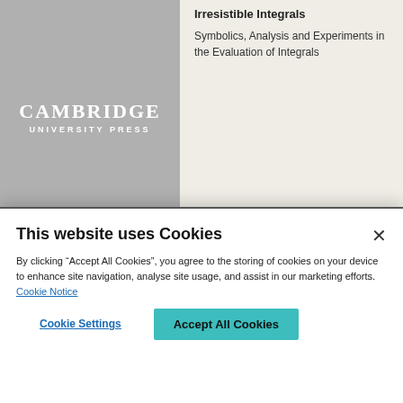[Figure (logo): Cambridge University Press logo on grey background]
Irresistible Integrals
Symbolics, Analysis and Experiments in the Evaluation of Integrals
This website uses Cookies
By clicking “Accept All Cookies”, you agree to the storing of cookies on your device to enhance site navigation, analyse site usage, and assist in our marketing efforts. Cookie Notice
Cookie Settings
Accept All Cookies